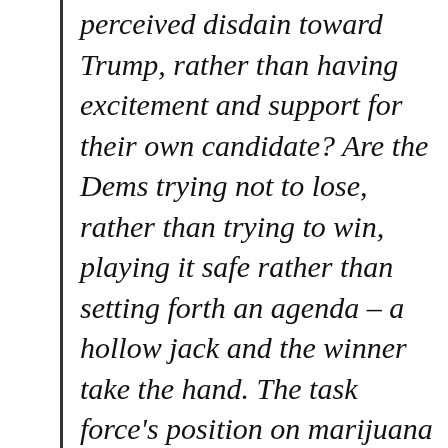perceived disdain toward Trump, rather than having excitement and support for their own candidate? Are the Dems trying not to lose, rather than trying to win, playing it safe rather than setting forth an agenda – a hollow jack and the winner take the hand. The task force's position on marijuana indicates that they see the issue as a distraction, one that could